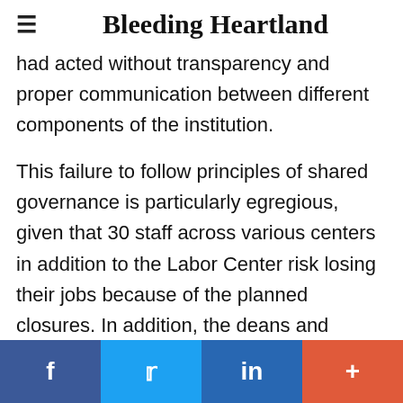Bleeding Heartland
had acted without transparency and proper communication between different components of the institution.
This failure to follow principles of shared governance is particularly egregious, given that 30 staff across various centers in addition to the Labor Center risk losing their jobs because of the planned closures. In addition, the deans and directors of labor education centers at eight out of eleven Big